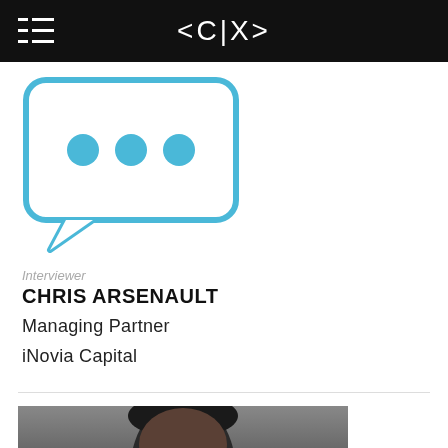<CIX>
[Figure (illustration): Chat bubble icon with three dots, drawn in blue outline style]
Interviewer
CHRIS ARSENAULT
Managing Partner
iNovia Capital
[Figure (photo): Professional headshot photo of a man with dark hair, looking directly at camera, grey background]